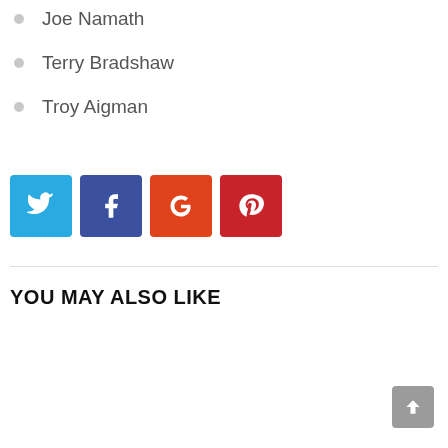Joe Namath
Terry Bradshaw
Troy Aigman
[Figure (infographic): Four social media share buttons: Twitter (blue), Facebook (dark blue/purple), Google+ (orange-red), Pinterest (red), each as a colored square icon button]
YOU MAY ALSO LIKE